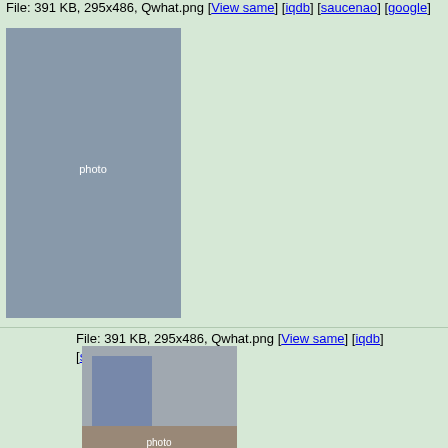File: 391 KB, 295x486, Qwhat.png [View same] [iqdb] [saucenao] [google]
[Figure (photo): Person wearing gothic lolita outfit with umbrella, plaid skirt and houndstooth stockings]
>> Anonymous Tue Jun 21 23:16:36 2022 No.10776884
File: 556 KB, 404x599, wretched fcking blouse.png [View same] [iqdb] [saucenao] [google]
[Figure (photo): Person wearing black and white striped gothic dress with black fur trim]
This blouse, just stop, using, this blouse people.
>> Anonymous Tue Jun 21 23:19:25 2022 No.10776886
File: 895 KB, 774x800, punk-bag_21.png [View same] [iqdb] [saucenao] [google]
[Figure (photo): Two people in punk/gothic outfits with hats]
>>10776828